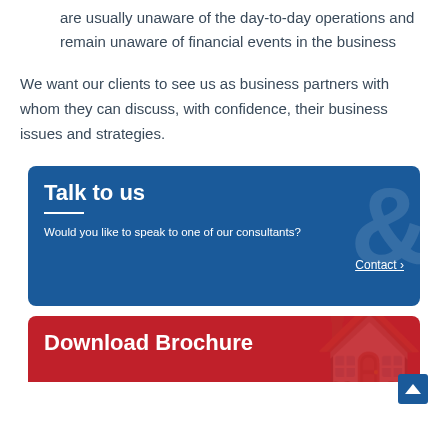are usually unaware of the day-to-day operations and remain unaware of financial events in the business
We want our clients to see us as business partners with whom they can discuss, with confidence, their business issues and strategies.
Talk to us
Would you like to speak to one of our consultants?
Contact ›
Download Brochure